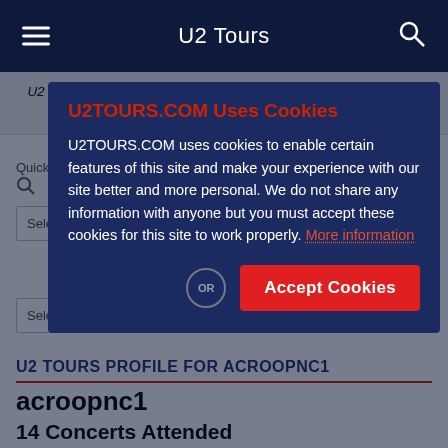U2 Tours
U2 Tours (formerly part of AtU2): A Comprehensive Guide To U2's Live Performance History
Quick S...
Select A...
Select from the Current Tour
U2 TOURS PROFILE FOR ACROOPNC1
acroopnc1
14 Concerts Attended
U2TOURS.COM Uses Cookies
U2TOURS.COM uses cookies to enable certain features of this site and make your experience with our site better and more personal. We do not share any information with anyone but you must accept these cookies for this site to work properly. More information
Accept Cookies